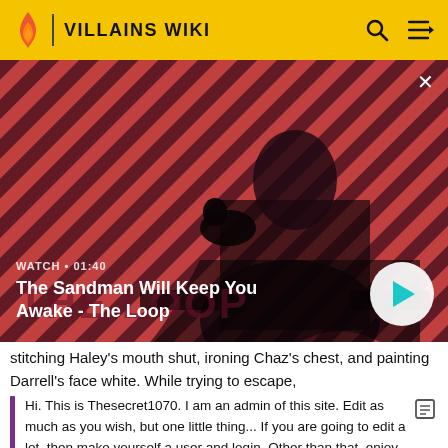VILLAINS WIKI
[Figure (screenshot): Video thumbnail showing a dark figure with a raven on their shoulder against a red and black diagonal striped background. Text overlay reads 'WATCH • 01:40' and 'The Sandman Will Keep You Awake - The Loop'. A play button is visible at the bottom right.]
stitching Haley's mouth shut, ironing Chaz's chest, and painting Darrell's face white. While trying to escape,
Hi. This is Thesecret1070. I am an admin of this site. Edit as much as you wish, but one little thing... If you are going to edit a lot, then make yourself a user and login. Other than that, enjoy Villains Wiki!!!